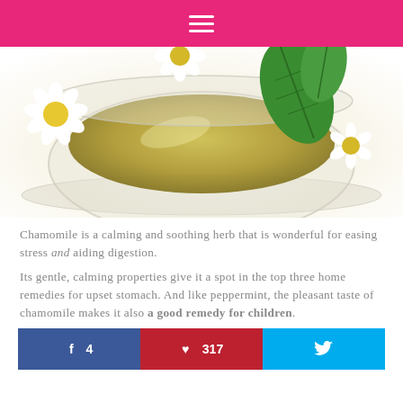≡ (navigation menu)
[Figure (photo): Photo of a glass cup of chamomile tea with fresh chamomile flowers and green mint leaves around it, on a white background.]
Chamomile is a calming and soothing herb that is wonderful for easing stress and aiding digestion.
Its gentle, calming properties give it a spot in the top three home remedies for upset stomach. And like peppermint, the pleasant taste of chamomile makes it also a good remedy for children.
f 4  |  ♥ 317  |  🐦 (Twitter share button)